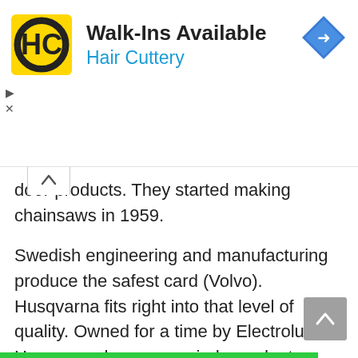[Figure (logo): Hair Cuttery advertisement banner with HC logo, Walk-Ins Available text, blue navigation diamond icon]
door products. They started making chainsaws in 1959.
Swedish engineering and manufacturing produce the safest card (Volvo). Husqvarna fits right into that level of quality. Owned for a time by Electrolux, Husqvarna became an independent company again in 2006, and is currently traded on the NASDAQ.
Once you’ve had a Husqvarna it’s hard to be satisfied with anything else, and fans are intensely loyal to the brand.